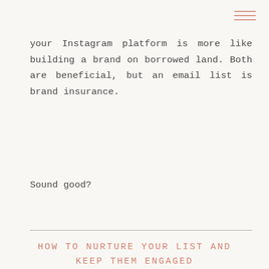your Instagram platform is more like building a brand on borrowed land. Both are beneficial, but an email list is brand insurance.
Sound good?
HOW TO NURTURE YOUR LIST AND KEEP THEM ENGAGED